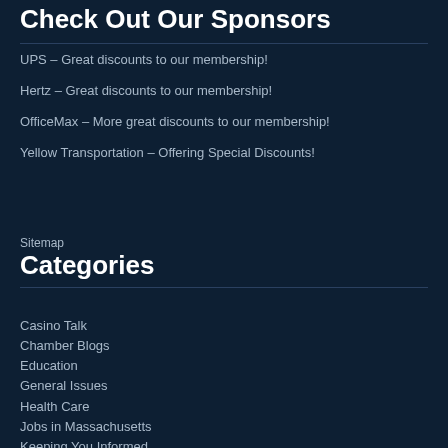Check Out Our Sponsors
UPS – Great discounts to our membership!
Hertz – Great discounts to our membership!
OfficeMax – More great discounts to our membership!
Yellow Transportation – Offering Special Discounts!
Sitemap
Categories
Casino Talk
Chamber Blogs
Education
General Issues
Health Care
Jobs in Massachusetts
Keeping You Informed
Legislative Update
Massachusetts State Information
News/Updates
Politics